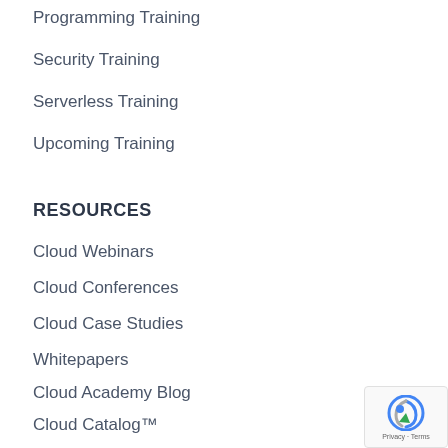Programming Training
Security Training
Serverless Training
Upcoming Training
RESOURCES
Cloud Webinars
Cloud Conferences
Cloud Case Studies
Whitepapers
Cloud Academy Blog
Cloud Catalog™
Press Releases
Courses